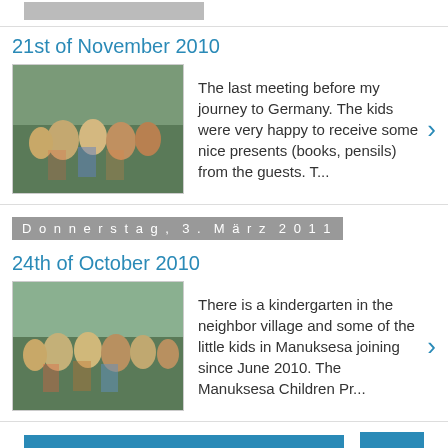[Figure (photo): Partial thumbnail image at top of page]
21st of November 2010
[Figure (photo): Photo of children in a village setting]
The last meeting before my journey to Germany. The kids were very happy to receive some nice presents (books, pensils) from the guests. T...
Donnerstag, 3. März 2011
24th of October 2010
[Figure (photo): Photo of children in a village setting]
There is a kindergarten in the neighbor village and some of the little kids in Manuksesa joining since June 2010. The Manuksesa Children Pr...
Startseite
Web-Version anzeigen
Über mich